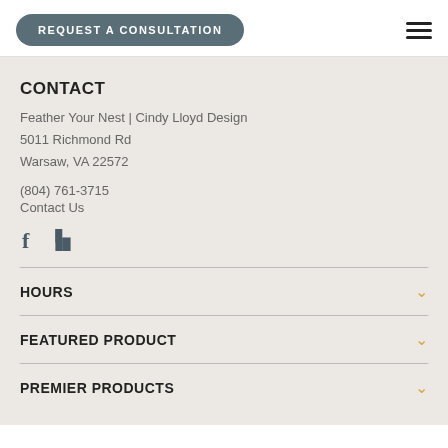REQUEST A CONSULTATION
CONTACT
Feather Your Nest | Cindy Lloyd Design
5011 Richmond Rd
Warsaw, VA 22572
(804) 761-3715
Contact Us
[Figure (illustration): Facebook and Houzz social media icons]
HOURS
FEATURED PRODUCT
PREMIER PRODUCTS